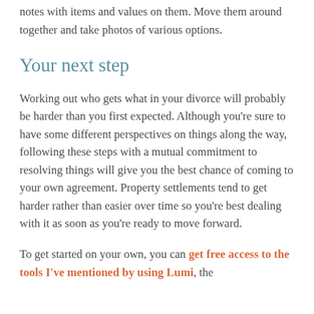If you're doing this on your own, it helps to use sticky notes with items and values on them. Move them around together and take photos of various options.
Your next step
Working out who gets what in your divorce will probably be harder than you first expected. Although you're sure to have some different perspectives on things along the way, following these steps with a mutual commitment to resolving things will give you the best chance of coming to your own agreement. Property settlements tend to get harder rather than easier over time so you're best dealing with it as soon as you're ready to move forward.
To get started on your own, you can get free access to the tools I've mentioned by using Lumi, the